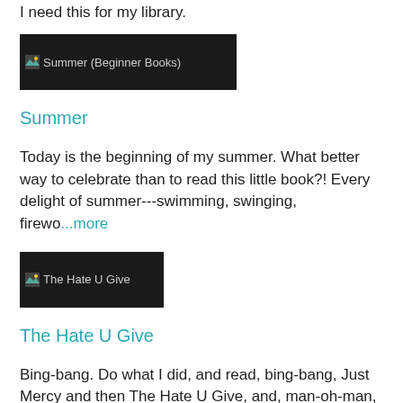I need this for my library.
[Figure (other): Book cover image placeholder for Summer (Beginner Books)]
Summer
Today is the beginning of my summer. What better way to celebrate than to read this little book?! Every delight of summer---swimming, swinging, firewo...more
[Figure (other): Book cover image placeholder for The Hate U Give]
The Hate U Give
Bing-bang. Do what I did, and read, bing-bang, Just Mercy and then The Hate U Give, and, man-oh-man, you can't help but feel the hurt, the cruelty, th ...more
[Figure (other): Book cover image placeholder for Have You Seen Elephant? (Gecko Press Titles)]